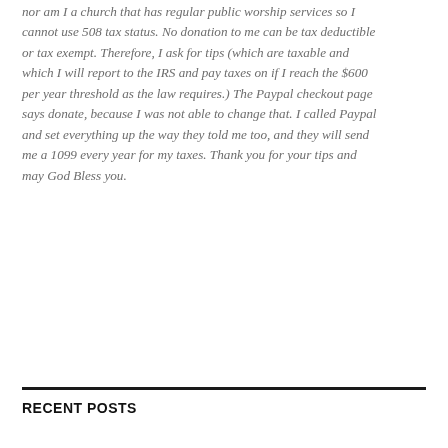nor am I a church that has regular public worship services so I cannot use 508 tax status. No donation to me can be tax deductible or tax exempt. Therefore, I ask for tips (which are taxable and which I will report to the IRS and pay taxes on if I reach the $600 per year threshold as the law requires.) The Paypal checkout page says donate, because I was not able to change that. I called Paypal and set everything up the way they told me too, and they will send me a 1099 every year for my taxes. Thank you for your tips and may God Bless you.
RECENT POSTS